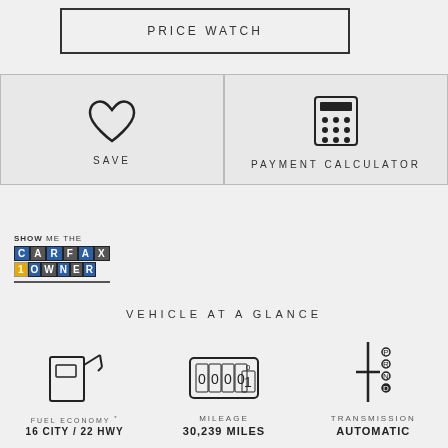PRICE WATCH
[Figure (infographic): Save button with heart icon]
[Figure (infographic): Payment Calculator button with calculator icon]
[Figure (logo): SHOW ME THE CARFAX 1 OWNER badge]
VEHICLE AT A GLANCE
[Figure (infographic): Fuel pump icon for Fuel Economy]
FUEL ECONOMY *
16 CITY / 22 HWY
[Figure (infographic): Odometer icon for Mileage]
MILEAGE
30,239 MILES
[Figure (infographic): Gear shift icon for Transmission]
TRANSMISSION
AUTOMATIC